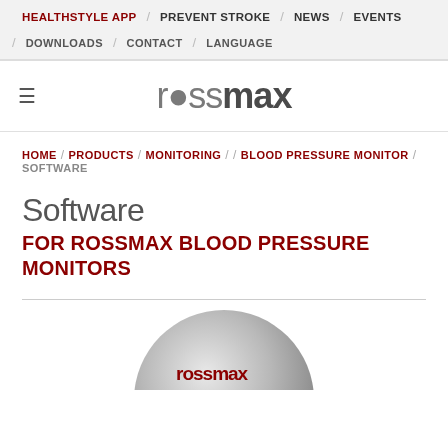HEALTHSTYLE APP / PREVENT STROKE / NEWS / EVENTS / DOWNLOADS / CONTACT / LANGUAGE
[Figure (logo): Rossmax brand logo with red cross symbol and gray/dark text]
HOME / PRODUCTS / MONITORING / BLOOD PRESSURE MONITOR / SOFTWARE
Software
FOR ROSSMAX BLOOD PRESSURE MONITORS
[Figure (photo): Partial view of a circular gray Rossmax blood pressure monitor device with red brand logo text]